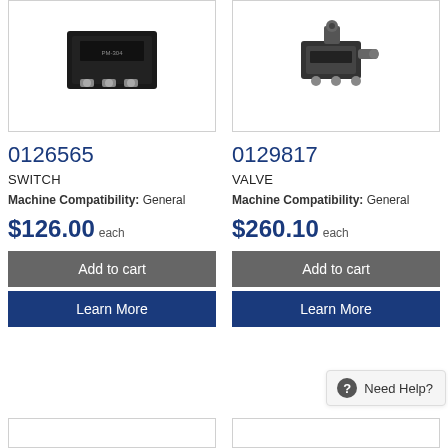[Figure (photo): Photo of a switch component (0126565) - black rectangular electrical switch with metal connectors]
[Figure (photo): Photo of a valve component (0129817) - metal valve with threaded fitting]
0126565
SWITCH
Machine Compatibility: General
$126.00 each
Add to cart
Learn More
0129817
VALVE
Machine Compatibility: General
$260.10 each
Add to cart
Learn More
Need Help?